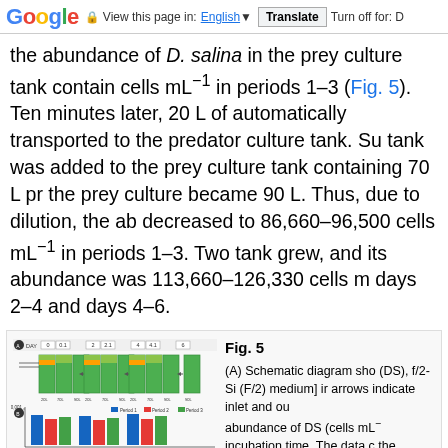Google  View this page in: English [▼]  Translate  Turn off for: D
the abundance of D. salina in the prey culture tank contain cells mL⁻¹ in periods 1–3 (Fig. 5). Ten minutes later, 20 L of automatically transported to the predator culture tank. Su tank was added to the prey culture tank containing 70 L pr the prey culture became 90 L. Thus, due to dilution, the ab decreased to 86,660–96,500 cells mL⁻¹ in periods 1–3. Two tank grew, and its abundance was 113,660–126,330 cells m days 2–4 and days 4–6.
[Figure (schematic): Fig. 5 panel A: Schematic diagram showing prey culture tanks (DS), f/2-Si (F/2) medium with arrows indicating inlet and outlet flows across days 0, 0.1, 2, 2.1, 4, 4.1, 6. Panel B: Bar chart showing abundance of DS (cells mL⁻¹) with legend for Period 1, Period 2, Period 3.]
Fig. 5
(A) Schematic diagram sho (DS), f/2-Si (F/2) medium] ir arrows indicate inlet and ou abundance of DS (cells mL⁻ incubation time. The data c the system three times from